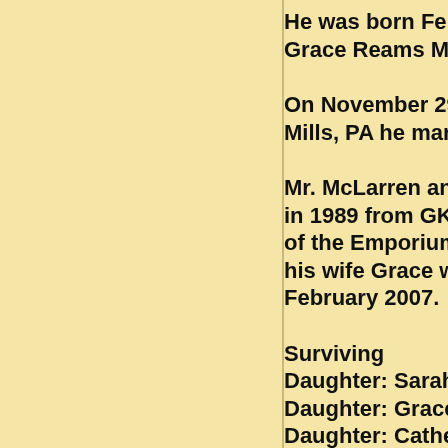He was born Feb... Grace Reams Mc...
On November 29... Mills, PA he marr...
Mr. McLarren and... in 1989 from GKI... of the Emporium... his wife Grace w... February 2007.
Surviving Daughter: Sarah Daughter: Grace Daughter: Cathe...